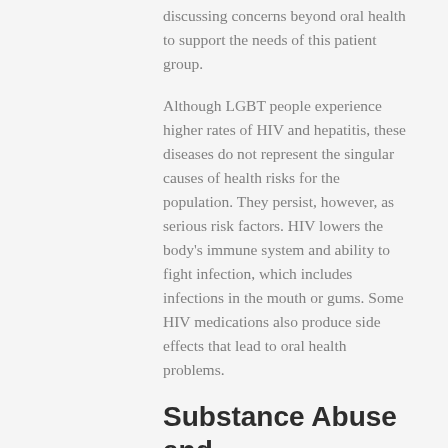discussing concerns beyond oral health to support the needs of this patient group.
Although LGBT people experience higher rates of HIV and hepatitis, these diseases do not represent the singular causes of health risks for the population. They persist, however, as serious risk factors. HIV lowers the body's immune system and ability to fight infection, which includes infections in the mouth or gums. Some HIV medications also produce side effects that lead to oral health problems.
Substance Abuse and Homelessness
As a result of systemic discrimination and disadvantage, LGBTQ+ people often succumb to higher rates of homelessness and substance abuse than the general population. The primary...